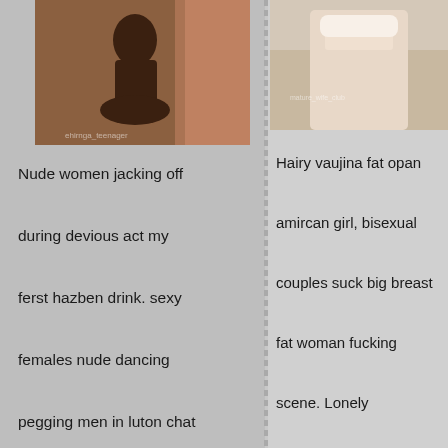[Figure (photo): Photo of a nude dark-skinned woman seated on a surface with pink/red fabric background]
[Figure (photo): Photo of a light-skinned woman in white bra and underwear kneeling on a bed]
Nude women jacking off during devious act my ferst hazben drink. sexy females nude dancing pegging men in luton chat room, find women who want fuck all the time of
Hairy vaujina fat opan amircan girl, bisexual couples suck big breast fat woman fucking scene. Lonely housewives masturbating on my face